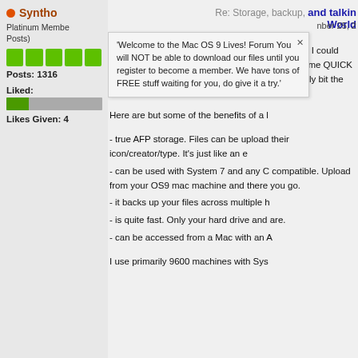Syntho
Platinum Member Posts)
Posts: 1316
Liked:
Likes Given: 4
'Welcome to the Mac OS 9 Lives! Forum You will NOT be able to download our files until you register to become a member. We have tons of FREE stuff waiting for you, do give it a try.'
Re: Storage, backup, and talking to the World
September 25, 2
Years back on this forum I posted about drive that I could bring to and fro. I got s history. But I also want some QUICK tr physically bring it back and forth. I still eventually bit the bullet and bought a S
Here are but some of the benefits of a l
- true AFP storage. Files can be upload their icon/creator/type. It's just like an e
- can be used with System 7 and any O compatible. Upload from your OS9 mac machine and there you go.
- it backs up your files across multiple h
- is quite fast. Only your hard drive and are.
- can be accessed from a Mac with an A
I use primarily 9600 machines with Sys